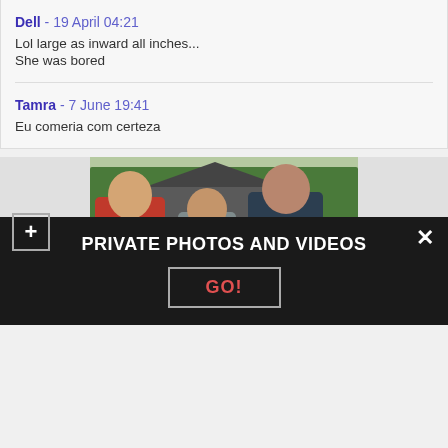Dell - 19 April 04:21
Lol large as inward all inches...
She was bored
Tamra - 7 June 19:41
Eu comeria com certeza
[Figure (photo): Three young women posing outdoors in front of a barn/farm structure with greenery in the background.]
PRIVATE PHOTOS AND VIDEOS
GO!